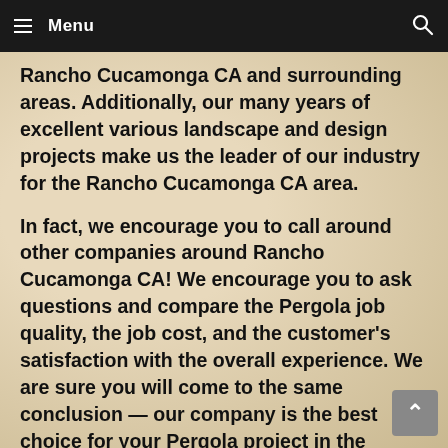Menu
Rancho Cucamonga CA and surrounding areas. Additionally, our many years of excellent various landscape and design projects make us the leader of our industry for the Rancho Cucamonga CA area.
In fact, we encourage you to call around other companies around Rancho Cucamonga CA! We encourage you to ask questions and compare the Pergola job quality, the job cost, and the customer's satisfaction with the overall experience. We are sure you will come to the same conclusion — our company is the best choice for your Pergola project in the Rancho Cucamonga CA are! Our professionals